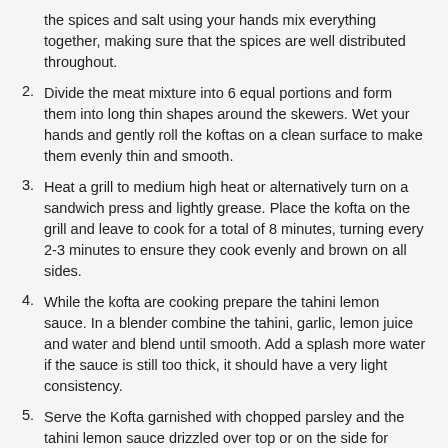the spices and salt using your hands mix everything together, making sure that the spices are well distributed throughout.
2. Divide the meat mixture into 6 equal portions and form them into long thin shapes around the skewers. Wet your hands and gently roll the koftas on a clean surface to make them evenly thin and smooth.
3. Heat a grill to medium high heat or alternatively turn on a sandwich press and lightly grease. Place the kofta on the grill and leave to cook for a total of 8 minutes, turning every 2-3 minutes to ensure they cook evenly and brown on all sides.
4. While the kofta are cooking prepare the tahini lemon sauce. In a blender combine the tahini, garlic, lemon juice and water and blend until smooth. Add a splash more water if the sauce is still too thick, it should have a very light consistency.
5. Serve the Kofta garnished with chopped parsley and the tahini lemon sauce drizzled over top or on the side for dipping.
Nutrition
Serving: 1skewer | Calories: 220kcal | Carbohydrates: 5g | Protein: